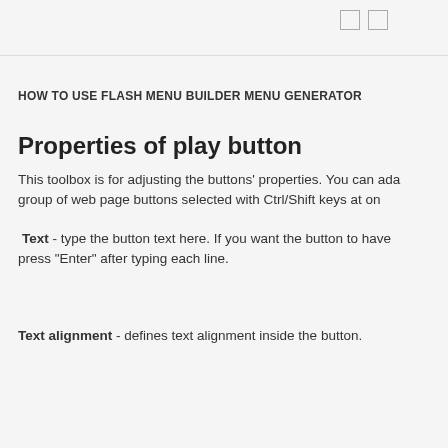HOW TO USE FLASH MENU BUILDER MENU GENERATOR
Properties of play button
This toolbox is for adjusting the buttons' properties. You can adjust a group of web page buttons selected with Ctrl/Shift keys at once.
Text - type the button text here. If you want the button to have press "Enter" after typing each line.
Text alignment - defines text alignment inside the button.